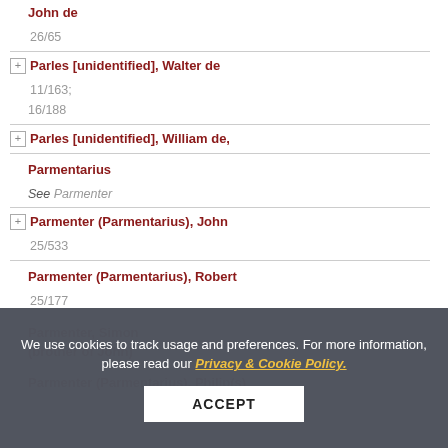John de
26/65
Parles [unidentified], Walter de
11/163; 16/188
Parles [unidentified], William de,
Parmentarius
See Parmenter
Parmenter (Parmentarius), John
25/533
Parmenter (Parmentarius), Robert
25/177
Parmenter, Simon
(brother of John)
Parmenter (Parmentarius), Philip(s)
We use cookies to track usage and preferences. For more information, please read our Privacy & Cookie Policy.
ACCEPT